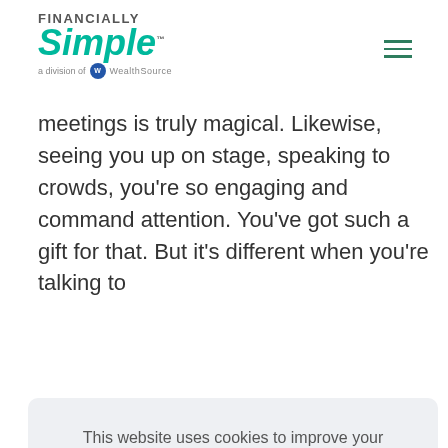FINANCIALLY Simple™ — a division of WealthSource
meetings is truly magical. Likewise, seeing you up on stage, speaking to crowds, you're so engaging and command attention. You've got such a gift for that. But it's different when you're talking to
This website uses cookies to improve your experience. By using this website you agree to our Cookie Policy.

Learn more...

Ok
you've answered the my-haz or 'why' question, then here. What c hich h ue i ? Wh i th